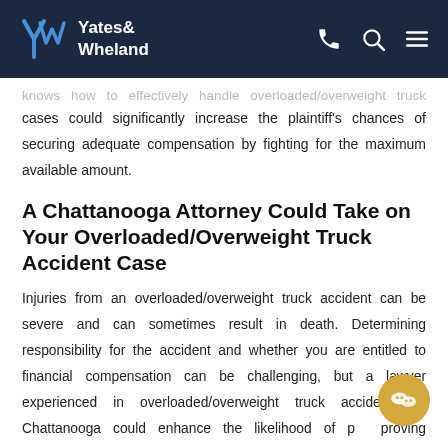Yates & Wheland
knows how to effectively handle overloaded/overweight truck accident cases could significantly increase the plaintiff's chances of securing adequate compensation by fighting for the maximum available amount.
A Chattanooga Attorney Could Take on Your Overloaded/Overweight Truck Accident Case
Injuries from an overloaded/overweight truck accident can be severe and can sometimes result in death. Determining responsibility for the accident and whether you are entitled to financial compensation can be challenging, but a lawyer experienced in overloaded/overweight truck accidents in Chattanooga could enhance the likelihood of proving negligence. Reach out as soon as possible for an initial consultation and learn more about your chances of recovering damages.